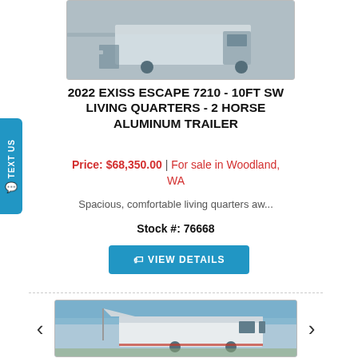[Figure (photo): Partial view of a white horse trailer with living quarters, showing rear/side]
2022 EXISS ESCAPE 7210 - 10FT SW LIVING QUARTERS - 2 HORSE ALUMINUM TRAILER
Price: $68,350.00 | For sale in Woodland, WA
Spacious, comfortable living quarters aw...
Stock #: 76668
[Figure (other): View Details button (blue, with tag icon)]
[Figure (photo): Second horse trailer listing photo showing trailer with awning extended against blue sky]